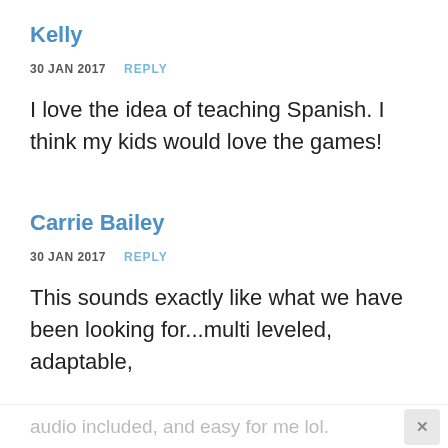Kelly
30 JAN 2017   REPLY
I love the idea of teaching Spanish. I think my kids would love the games!
Carrie Bailey
30 JAN 2017   REPLY
This sounds exactly like what we have been looking for...multi leveled, adaptable,
audio included, and easy for me lol.